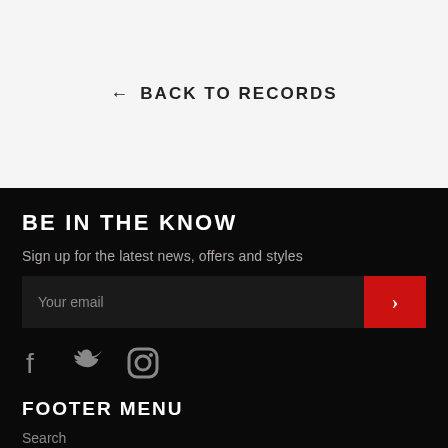← BACK TO RECORDS
BE IN THE KNOW
Sign up for the latest news, offers and styles
Your email
[Figure (infographic): Social media icons: Facebook, Twitter, Instagram]
FOOTER MENU
Search